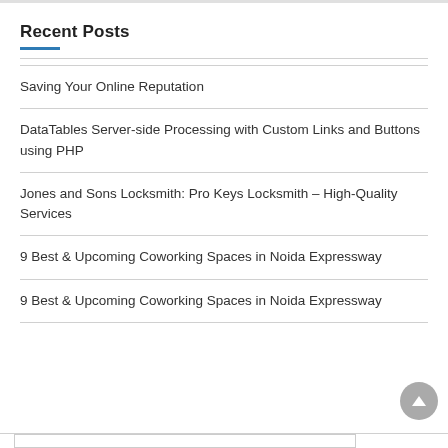Recent Posts
Saving Your Online Reputation
DataTables Server-side Processing with Custom Links and Buttons using PHP
Jones and Sons Locksmith: Pro Keys Locksmith – High-Quality Services
9 Best & Upcoming Coworking Spaces in Noida Expressway
9 Best & Upcoming Coworking Spaces in Noida Expressway